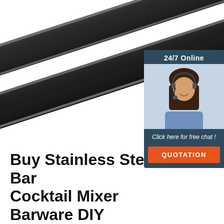[Figure (photo): Two dark/black stainless steel flat bar pieces stacked at an angle on a white background, with a customer service chat widget overlay in the top-right corner showing '24/7 Online', a woman wearing a headset, 'Click here for free chat!' text, and an orange 'QUOTATION' button. A red TOP navigation button is visible in the lower-right area.]
Buy Stainless Steel Bar Cocktail Mixer Barware DIY